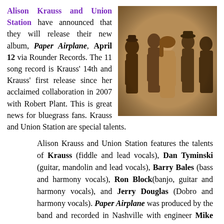Alison Krauss and Union Station have announced that they will release their new album, Paper Airplane, April 12 via Rounder Records. The 11 song record is Krauss' 14th and Krauss' first release since her acclaimed collaboration in 2007 with Robert Plant. This is great news for bluegrass fans. Krauss and Union Station are special talents.
[Figure (photo): Sepia-toned photo of Alison Krauss and Union Station band members in vintage/western style clothing]
Alison Krauss and Union Station features the talents of Krauss (fiddle and lead vocals), Dan Tyminski (guitar, mandolin and lead vocals), Barry Bales (bass and harmony vocals), Ron Block(banjo, guitar and harmony vocals), and Jerry Douglas (Dobro and harmony vocals). Paper Airplane was produced by the band and recorded in Nashville with engineer Mike Shipley (Maroon 5, The Cars, Def Leppard, Joni Mitchell). As bluegrass virtuosos the members of Union Station are beyond compare, and the